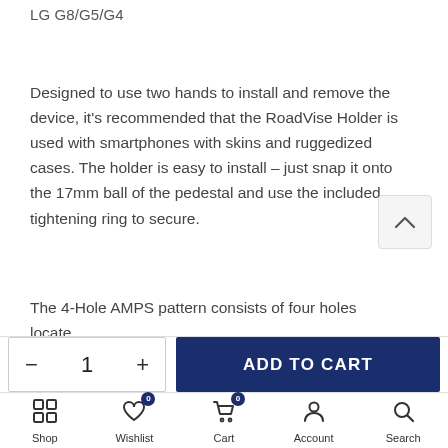LG G8/G5/G4
Designed to use two hands to install and remove the device, it's recommended that the RoadVise Holder is used with smartphones with skins and ruggedized cases. The holder is easy to install – just snap it onto the 17mm ball of the pedestal and use the included tightening ring to secure.
The 4-Hole AMPS pattern consists of four holes located in a rectangular pattern spaced at 30.17mm x 38.05mm
[Figure (screenshot): Add to cart quantity control: minus button, quantity 1, plus button; and blue ADD TO CART button]
Shop  Wishlist 0  Cart 0  Account  Search